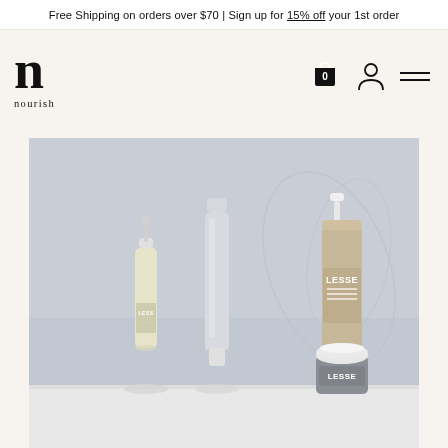Free Shipping on orders over $70 | Sign up for 15% off your 1st order
[Figure (logo): Nourish brand logo — stylized letter 'n' in bold serif with 'nourish' text below]
[Figure (photo): Hero product photo: four LESSE skincare products (dropper bottle with yellow oil, white tube, white spray bottle with tan label, and a grey jar) arranged on a light grey background]